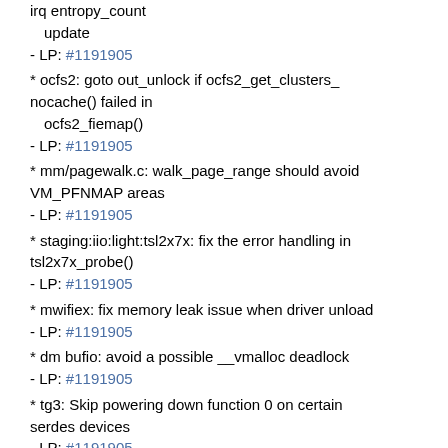irq entropy_count update
  - LP: #1191905
* ocfs2: goto out_unlock if ocfs2_get_clusters_nocache() failed in ocfs2_fiemap()
  - LP: #1191905
* mm/pagewalk.c: walk_page_range should avoid VM_PFNMAP areas
  - LP: #1191905
* staging:iio:light:tsl2x7x: fix the error handling in tsl2x7x_probe()
  - LP: #1191905
* mwifiex: fix memory leak issue when driver unload
  - LP: #1191905
* dm bufio: avoid a possible __vmalloc deadlock
  - LP: #1191905
* tg3: Skip powering down function 0 on certain serdes devices
  - LP: #1191905
* acpi/video_detect: blacklist samsung x360
  - LP: #1191905
* ACPI / video: Add "Asus UL30VT" to ACPI video detect blacklist
  - LP: #1191905
* ACPI / video: Add "Asus UL30A" to ACPI video...